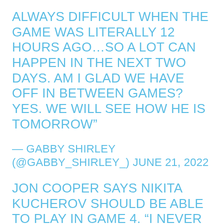ALWAYS DIFFICULT WHEN THE GAME WAS LITERALLY 12 HOURS AGO…SO A LOT CAN HAPPEN IN THE NEXT TWO DAYS. AM I GLAD WE HAVE OFF IN BETWEEN GAMES? YES. WE WILL SEE HOW HE IS TOMORROW”
— GABBY SHIRLEY (@GABBY_SHIRLEY_) JUNE 21, 2022
JON COOPER SAYS NIKITA KUCHEROV SHOULD BE ABLE TO PLAY IN GAME 4. “I NEVER COUNT THAT KID OUT.”
— JOE SMITH (@JOESMITHTB) JUNE 21, 2022